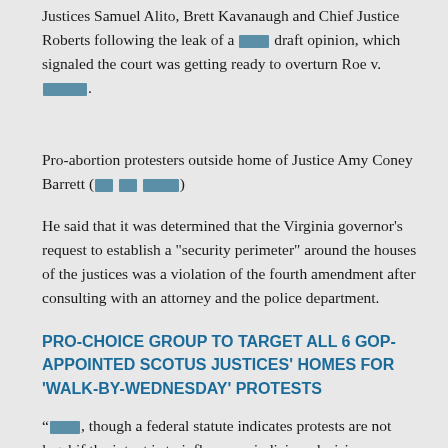Justices Samuel Alito, Brett Kavanaugh and Chief Justice Roberts following the leak of a [REDACTED] draft opinion, which signaled the court was getting ready to overturn Roe v. [REDACTED].
Pro-abortion protesters outside home of Justice Amy Coney Barrett ([REDACTED])
He said that it was determined that the Virginia governor’s request to establish a “security perimeter” around the houses of the justices was a violation of the fourth amendment after consulting with an attorney and the police department.
PRO-CHOICE GROUP TO TARGET ALL 6 GOP-APPOINTED SCOTUS JUSTICES’ HOMES FOR ‘WALK-BY-WEDNESDAY’ PROTESTS
“[REDACTED], though a federal statute indicates protests are not legal if the intent is to influence a judiciary decision, a federal law is only enforceable by